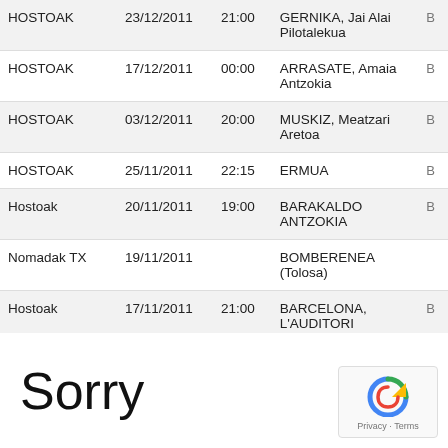| Name | Date | Time | Venue |  |
| --- | --- | --- | --- | --- |
| HOSTOAK | 23/12/2011 | 21:00 | GERNIKA, Jai Alai Pilotalekua | B |
| HOSTOAK | 17/12/2011 | 00:00 | ARRASATE, Amaia Antzokia | B |
| HOSTOAK | 03/12/2011 | 20:00 | MUSKIZ, Meatzari Aretoa | B |
| HOSTOAK | 25/11/2011 | 22:15 | ERMUA | B |
| Hostoak | 20/11/2011 | 19:00 | BARAKALDO ANTZOKIA | B |
| Nomadak TX | 19/11/2011 |  | BOMBERENEA (Tolosa) |  |
| Hostoak | 17/11/2011 | 21:00 | BARCELONA, L'AUDITORI | B |
Sorry